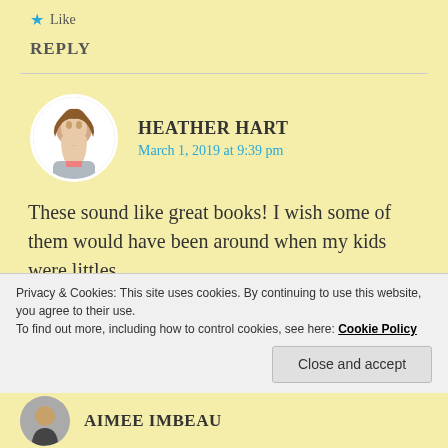★ Like
REPLY
HEATHER HART
March 1, 2019 at 9:39 pm
These sound like great books! I wish some of them would have been around when my kids were littles.
★ Like
Privacy & Cookies: This site uses cookies. By continuing to use this website, you agree to their use.
To find out more, including how to control cookies, see here: Cookie Policy
Close and accept
AIMEE IMBEAU